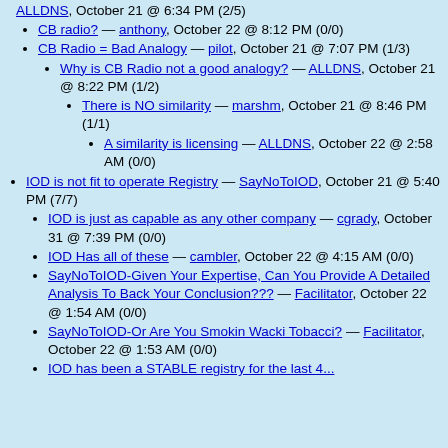ALLDNS, October 21 @ 6:34 PM (2/5)
CB radio? — anthony, October 22 @ 8:12 PM (0/0)
CB Radio = Bad Analogy — pilot, October 21 @ 7:07 PM (1/3)
Why is CB Radio not a good analogy? — ALLDNS, October 21 @ 8:22 PM (1/2)
There is NO similarity — marshm, October 21 @ 8:46 PM (1/1)
A similarity is licensing — ALLDNS, October 22 @ 2:58 AM (0/0)
IOD is not fit to operate Registry — SayNoToIOD, October 21 @ 5:40 PM (7/7)
IOD is just as capable as any other company — cgrady, October 31 @ 7:39 PM (0/0)
IOD Has all of these — cambler, October 22 @ 4:15 AM (0/0)
SayNoToIOD-Given Your Expertise, Can You Provide A Detailed Analysis To Back Your Conclusion??? — Facilitator, October 22 @ 1:54 AM (0/0)
SayNoToIOD-Or Are You Smokin Wacki Tobacci? — Facilitator, October 22 @ 1:53 AM (0/0)
IOD has been a STABLE registry for the last 4...